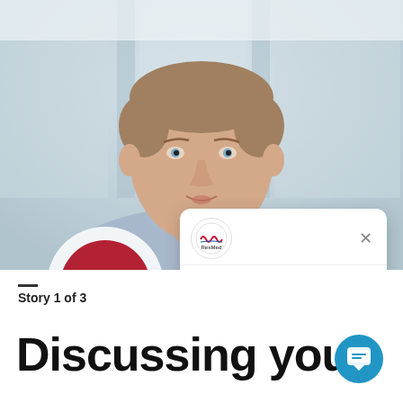[Figure (photo): A man in a light blue button-up shirt speaking, photographed from the shoulders up against a blurred office/window background. A video play button overlay is visible on the lower left of the image.]
[Figure (screenshot): A chat popup window with the ResMed logo at the top, a close (X) button, and the message: Hi, I am a ResMed Support Bot.]
Story 1 of 3
Discussing your